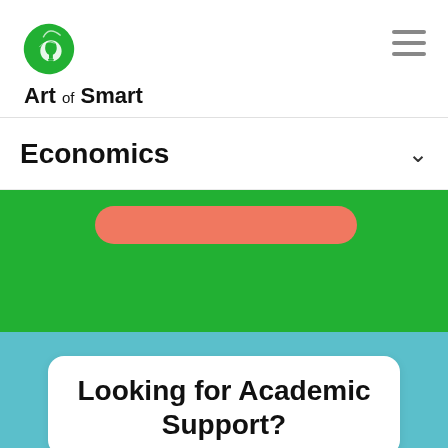[Figure (logo): Art of Smart logo — green leaf with lightbulb icon, text 'Art of Smart']
Economics
[Figure (infographic): Green banner section with an orange/salmon pill-shaped button bar near the top]
Looking for Academic Support?